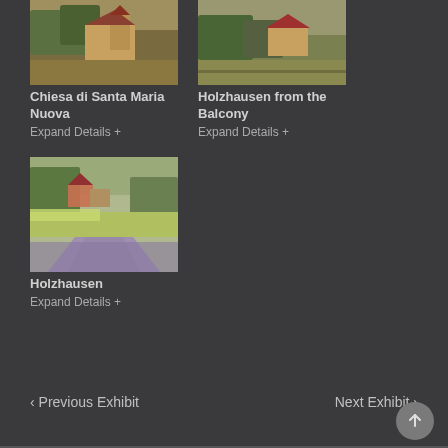[Figure (photo): Painting thumbnail of Chiesa di Santa Maria Nuova, warm tones showing a church building]
Chiesa di Santa Maria Nuova
Expand Details +
[Figure (photo): Painting thumbnail of Holzhausen from the Balcony, showing a view of Holzhausen village]
Holzhausen from the Balcony
Expand Details +
[Figure (photo): Painting thumbnail of Holzhausen, showing a rural landscape with a dirt path, green fields, and buildings in the background]
Holzhausen
Expand Details +
‹ Previous Exhibit
Next Exhibit ›